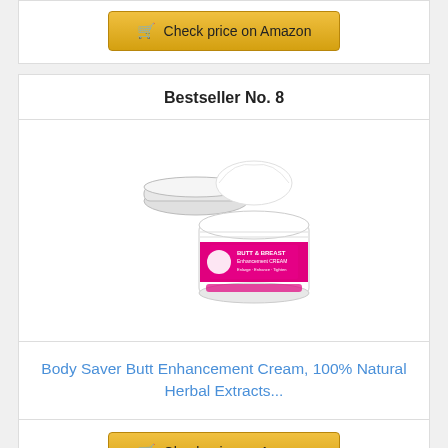[Figure (other): Check price on Amazon button at top of page (partial card)]
Bestseller No. 8
[Figure (photo): Product photo of Body Saver Butt & Breast Enhancement Cream in a white jar with pink label, lid open showing white cream inside]
Body Saver Butt Enhancement Cream, 100% Natural Herbal Extracts...
[Figure (other): Check price on Amazon button at bottom of page]